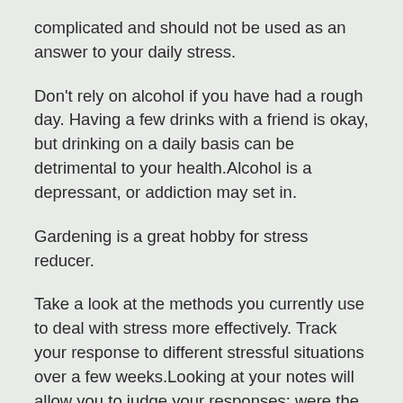complicated and should not be used as an answer to your daily stress.
Don't rely on alcohol if you have had a rough day. Having a few drinks with a friend is okay, but drinking on a daily basis can be detrimental to your health.Alcohol is a depressant, or addiction may set in.
Gardening is a great hobby for stress reducer.
Take a look at the methods you currently use to deal with stress more effectively. Track your response to different stressful situations over a few weeks.Looking at your notes will allow you to judge your responses: were the results helpful and were they healthy in nature? If your reactions were negative, you can seek new ways to manage stress in